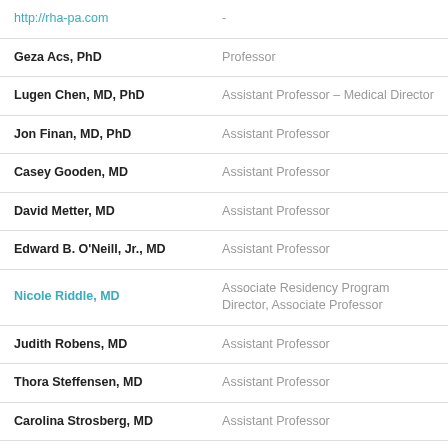| Name | Title |
| --- | --- |
| http://rha-pa.com | - |
| Geza Acs, PhD | Professor |
| Lugen Chen, MD, PhD | Assistant Professor – Medical Director |
| Jon Finan, MD, PhD | Assistant Professor |
| Casey Gooden, MD | Assistant Professor |
| David Metter, MD | Assistant Professor |
| Edward B. O'Neill, Jr., MD | Assistant Professor |
| Nicole Riddle, MD | Associate Residency Program Director, Associate Professor |
| Judith Robens, MD | Assistant Professor |
| Thora Steffensen, MD | Assistant Professor |
| Carolina Strosberg, MD | Assistant Professor |